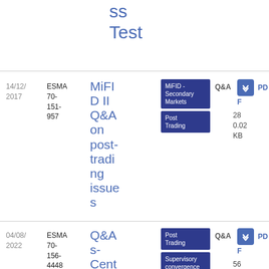ss Test
14/12/2017 | ESMA 70-151-957 | MiFID II Q&A on post-trading issues | MiFID - Secondary Markets, Post Trading | Q&A | PDF | 280.02 KB
04/08/2022 | ESMA 70-156-4448 | Q&As-Central Securities Dep | Post Trading, Supervisory convergence | Q&A | PDF | 561.38 KB